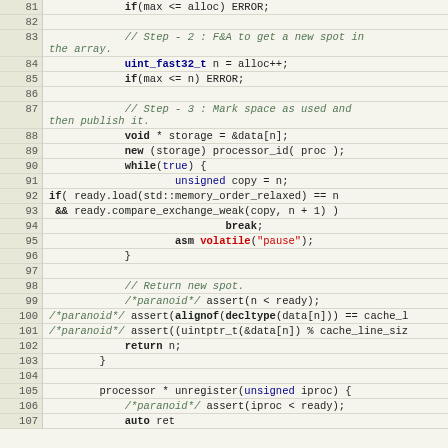Source code listing lines 81-107, C++ code for a lock-free data structure with atomic operations, memory ordering, and assembly volatile pause instruction.